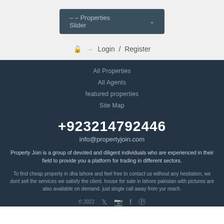– – Properties Slider
Login / Register
All Properties
All Agents
featured properties
Site Map
+923214792446
info@propertyjoin.com
Property Join is a group of devoted and diligent individuals who are experienced in their field to provide you a platform for trading in different sectors.
To find cheap property in dha lahore and feel free to contact us without any hesitation, we dont sell the services we satisfy the client. house for sale in lahore pakistan with pictures are also available on demand. just single call away from yur reach.
© 2022